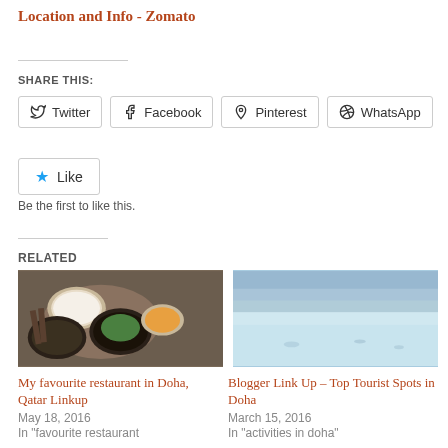Location and Info - Zomato
SHARE THIS:
Twitter  Facebook  Pinterest  WhatsApp
Like
Be the first to like this.
RELATED
[Figure (photo): Food photo showing bowls of Vietnamese or Asian food on a wooden tray]
My favourite restaurant in Doha, Qatar Linkup
May 18, 2016
In "favourite restaurant
[Figure (photo): Beach/sea photo showing shallow clear water with a blue sky, Doha Qatar]
Blogger Link Up – Top Tourist Spots in Doha
March 15, 2016
In "activities in doha"